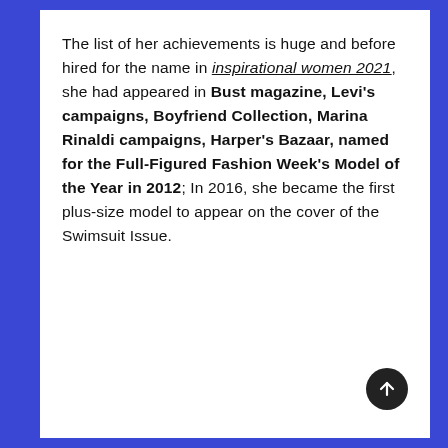The list of her achievements is huge and before hired for the name in inspirational women 2021, she had appeared in Bust magazine, Levi's campaigns, Boyfriend Collection, Marina Rinaldi campaigns, Harper's Bazaar, named for the Full-Figured Fashion Week's Model of the Year in 2012; In 2016, she became the first plus-size model to appear on the cover of the Swimsuit Issue.